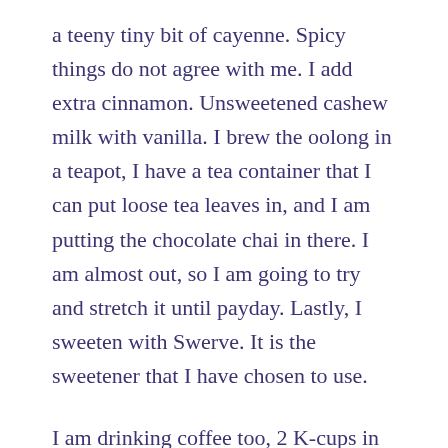a teeny tiny bit of cayenne. Spicy things do not agree with me. I add extra cinnamon. Unsweetened cashew milk with vanilla. I brew the oolong in a teapot, I have a tea container that I can put loose tea leaves in, and I am putting the chocolate chai in there. I am almost out, so I am going to try and stretch it until payday. Lastly, I sweeten with Swerve. It is the sweetener that I have chosen to use.
I am drinking coffee too, 2 K-cups in my new NaNoWriMo stainless Steel Mug. It is too tall to put under my Keurig, so I have to brew the coffee in a regular mug. I have gotten myself into the habit of drinking my coffee black. I